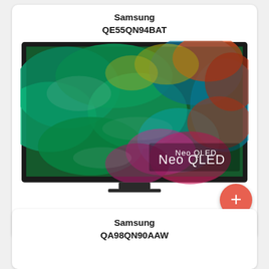Samsung
QE55QN94BAT
[Figure (photo): Samsung QE55QN94BAT Neo QLED television displaying a vivid colorful abstract swirling image on screen with the 'Neo QLED' logo in the lower right corner of the display. The TV has a dark frame and a center stand.]
Samsung
QA98QN90AAW